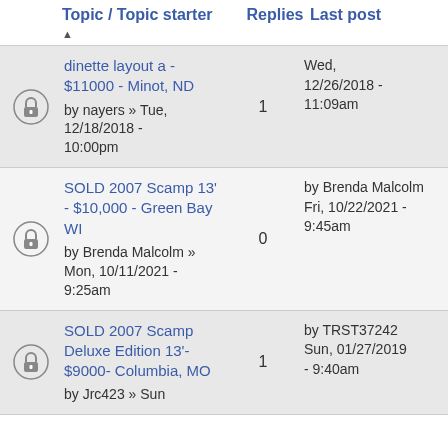|  | Topic / Topic starter | Replies | Last post |
| --- | --- | --- | --- |
| [lock] | dinette layout a - $11000 - Minot, ND
by nayers » Tue, 12/18/2018 - 10:00pm | 1 | Wed, 12/26/2018 - 11:09am |
| [lock] | SOLD 2007 Scamp 13' - $10,000 - Green Bay WI
by Brenda Malcolm » Mon, 10/11/2021 - 9:25am | 0 | by Brenda Malcolm
Fri, 10/22/2021 - 9:45am |
| [lock] | SOLD 2007 Scamp Deluxe Edition 13'- $9000- Columbia, MO
by Jrc423 » Sun | 1 | by TRST37242
Sun, 01/27/2019 - 9:40am |